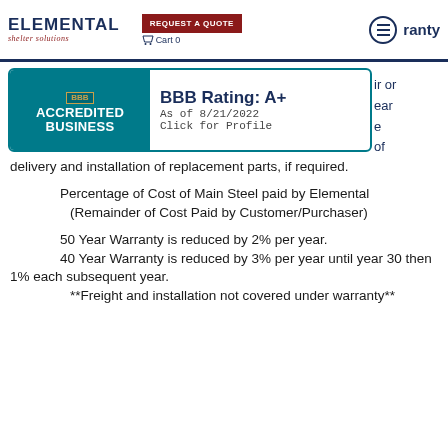[Figure (logo): Elemental Shelter Solutions logo with company name and tagline]
[Figure (logo): BBB Accredited Business badge with Rating A+ as of 8/21/2022]
delivery and installation of replacement parts, if required.
Percentage of Cost of Main Steel paid by Elemental (Remainder of Cost Paid by Customer/Purchaser)
50 Year Warranty is reduced by 2% per year.
40 Year Warranty is reduced by 3% per year until year 30 then 1% each subsequent year.
**Freight and installation not covered under warranty**